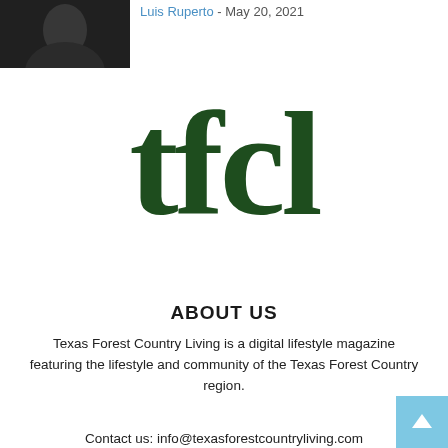[Figure (photo): Dark photo of a person, partially visible in top-left corner]
Luis Ruperto - May 20, 2021
[Figure (logo): tfcl logo in large dark green serif font]
ABOUT US
Texas Forest Country Living is a digital lifestyle magazine featuring the lifestyle and community of the Texas Forest Country region.
Contact us: info@texasforestcountryliving.com